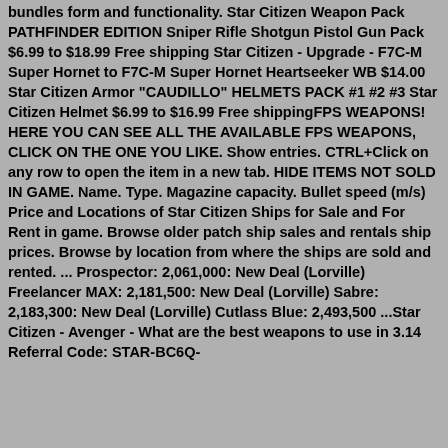bundles form and functionality. Star Citizen Weapon Pack PATHFINDER EDITION Sniper Rifle Shotgun Pistol Gun Pack $6.99 to $18.99 Free shipping Star Citizen - Upgrade - F7C-M Super Hornet to F7C-M Super Hornet Heartseeker WB $14.00 Star Citizen Armor "CAUDILLO" HELMETS PACK #1 #2 #3 Star Citizen Helmet $6.99 to $16.99 Free shippingFPS WEAPONS! HERE YOU CAN SEE ALL THE AVAILABLE FPS WEAPONS, CLICK ON THE ONE YOU LIKE. Show entries. CTRL+Click on any row to open the item in a new tab. HIDE ITEMS NOT SOLD IN GAME. Name. Type. Magazine capacity. Bullet speed (m/s) Price and Locations of Star Citizen Ships for Sale and For Rent in game. Browse older patch ship sales and rentals ship prices. Browse by location from where the ships are sold and rented. ... Prospector: 2,061,000: New Deal (Lorville) Freelancer MAX: 2,181,500: New Deal (Lorville) Sabre: 2,183,300: New Deal (Lorville) Cutlass Blue: 2,493,500 ...Star Citizen - Avenger - What are the best weapons to use in 3.14 Referral Code: STAR-BC6Q-